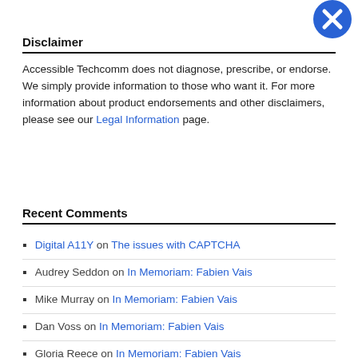[Figure (logo): Blue circular icon with white X mark in top-right corner]
Disclaimer
Accessible Techcomm does not diagnose, prescribe, or endorse. We simply provide information to those who want it. For more information about product endorsements and other disclaimers, please see our Legal Information page.
Recent Comments
Digital A11Y on The issues with CAPTCHA
Audrey Seddon on In Memoriam: Fabien Vais
Mike Murray on In Memoriam: Fabien Vais
Dan Voss on In Memoriam: Fabien Vais
Gloria Reece on In Memoriam: Fabien Vais